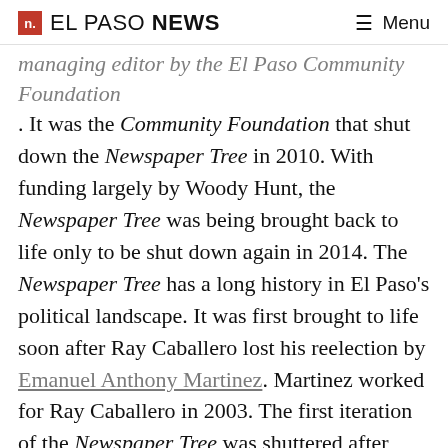n. EL PASO NEWS  ≡ Menu
managing editor by the El Paso Community Foundation. It was the Community Foundation that shut down the Newspaper Tree in 2010. With funding largely by Woody Hunt, the Newspaper Tree was being brought back to life only to be shut down again in 2014. The Newspaper Tree has a long history in El Paso's political landscape. It was first brought to life soon after Ray Caballero lost his reelection by Emanuel Anthony Martinez. Martinez worked for Ray Caballero in 2003. The first iteration of the Newspaper Tree was shuttered after Martinez went to work for Eliot Shapleigh. It was then brought back a second time, only to be